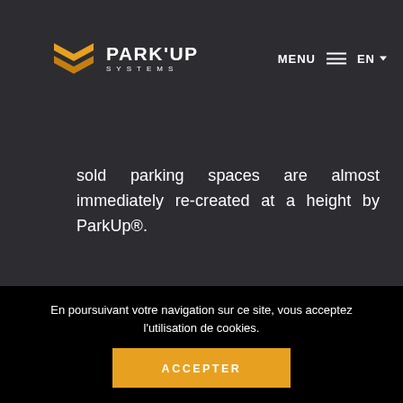PARK'UP SYSTEMS | MENU | EN
sold parking spaces are almost immediately re-created at a height by ParkUp®.
Sale or rental: complete
En poursuivant votre navigation sur ce site, vous acceptez l'utilisation de cookies.
ACCEPTER